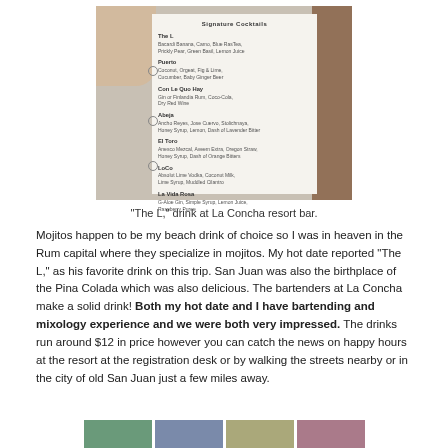[Figure (photo): A hand holding open a binder/menu showing signature cocktails list at La Concha resort bar, with a wooden surface visible on the right side.]
"The L," drink at La Concha resort bar.
Mojitos happen to be my beach drink of choice so I was in heaven in the Rum capital where they specialize in mojitos. My hot date reported “The L,” as his favorite drink on this trip. San Juan was also the birthplace of the Pina Colada which was also delicious. The bartenders at La Concha make a solid drink! Both my hot date and I have bartending and mixology experience and we were both very impressed. The drinks run around $12 in price however you can catch the news on happy hours at the resort at the registration desk or by walking the streets nearby or in the city of old San Juan just a few miles away.
[Figure (photo): Row of partial thumbnail photos at the bottom of the page.]